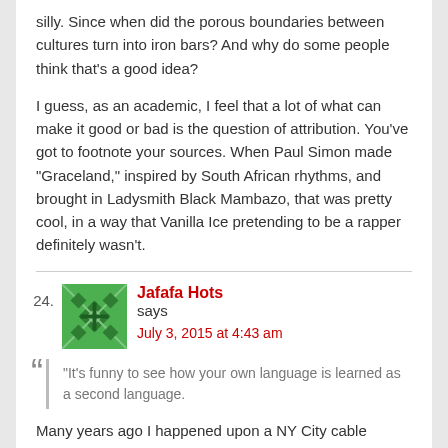silly. Since when did the porous boundaries between cultures turn into iron bars? And why do some people think that's a good idea?

I guess, as an academic, I feel that a lot of what can make it good or bad is the question of attribution. You've got to footnote your sources. When Paul Simon made "Graceland," inspired by South African rhythms, and brought in Ladysmith Black Mambazo, that was pretty cool, in a way that Vanilla Ice pretending to be a rapper definitely wasn't.
24. Jafafa Hots says
July 3, 2015 at 4:43 am
“It’s funny to see how your own language is learned as a second language.
Many years ago I happened upon a NY City cable channel English lesson being given in Spanish, and heard the instructor speaking a sentence I didn't really understand